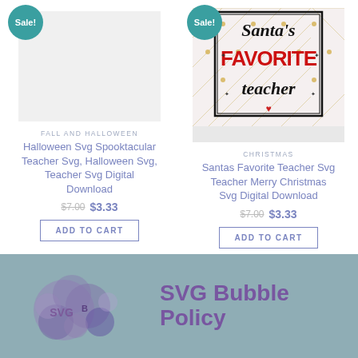[Figure (illustration): Teal 'Sale!' badge circle, top-left of left product]
[Figure (illustration): Placeholder image area for Halloween SVG product (left product)]
FALL AND HALLOWEEN
Halloween Svg Spooktacular Teacher Svg, Halloween Svg, Teacher Svg Digital Download
$7.00  $3.33
ADD TO CART
[Figure (illustration): Teal 'Sale!' badge circle, top-left of right product]
[Figure (illustration): Santa's Favorite Teacher SVG product image with format bar showing SVG PNG EPS DXF PDF]
CHRISTMAS
Santas Favorite Teacher Svg Teacher Merry Christmas Svg Digital Download
$7.00  $3.33
ADD TO CART
[Figure (logo): SVG Bubble logo - purple bubble letters on teal background]
SVG Bubble Policy